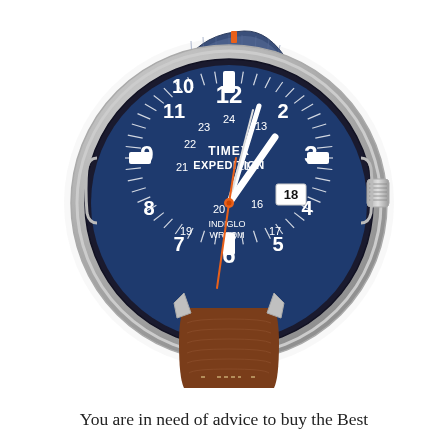[Figure (photo): Timex Expedition Scout watch with blue dial showing 12-hour and 24-hour markings, silver case, INDIGLO WR 50M text, date window showing 18, orange second hand, white hour and minute hands, brown leather and blue nylon strap]
You are in need of advice to buy the Best